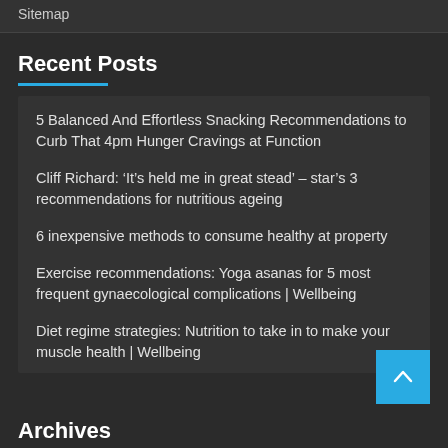Sitemap
Recent Posts
5 Balanced And Effortless Snacking Recommendations to Curb That 4pm Hunger Cravings at Function
Cliff Richard: ‘It’s held me in great stead’ – star’s 3 recommendations for nutritious ageing
6 inexpensive methods to consume healthy at property
Exercise recommendations: Yoga asanas for 5 most frequent gynaecological complications | Wellbeing
Diet regime strategies: Nutrition to take in to make your muscle health | Wellbeing
Archives